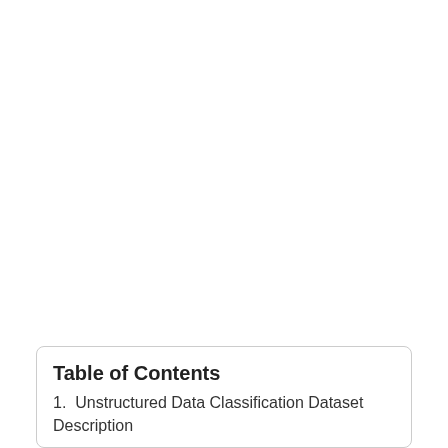Table of Contents
1.  Unstructured Data Classification Dataset Description